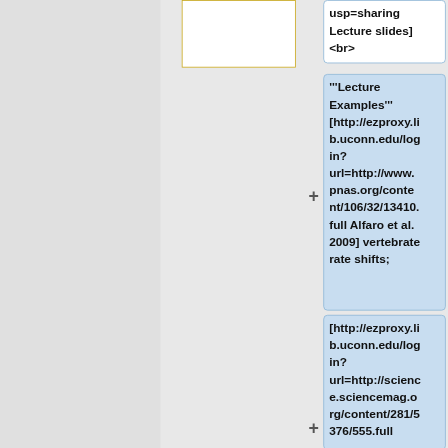usp=sharing Lecture slides] <br>
'''Lecture Examples''' [http://ezproxy.lib.uconn.edu/login?url=http://www.pnas.org/content/106/32/13410.full Alfaro et al. 2009] vertebrate rate shifts;
[http://ezproxy.lib.uconn.edu/login?url=http://science.sciencemag.org/content/281/5376/555.full